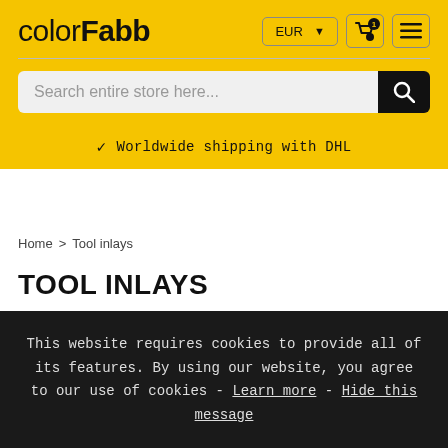colorFabb | EUR | cart | menu
Search entire store here...
✓ Worldwide shipping with DHL
Home > Tool inlays
TOOL INLAYS
This website requires cookies to provide all of its features. By using our website, you agree to our use of cookies - Learn more - Hide this message